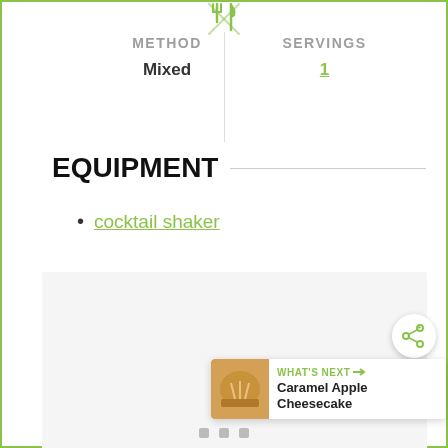[Figure (illustration): Green crossed fork and knife icon at top center]
METHOD
Mixed
SERVINGS
1
EQUIPMENT
cocktail shaker
[Figure (photo): Large light grey image placeholder area]
[Figure (illustration): Share button icon (circular with share symbol)]
WHAT'S NEXT → Caramel Apple Cheesecake